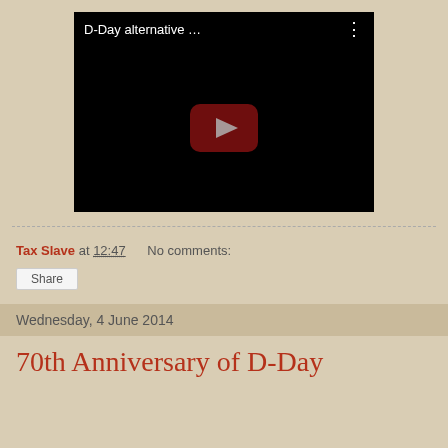[Figure (screenshot): YouTube video thumbnail showing 'D-Day alternative ...' title with play button on black background]
Tax Slave at 12:47   No comments:
Share
Wednesday, 4 June 2014
70th Anniversary of D-Day